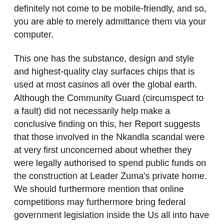definitely not come to be mobile-friendly, and so, you are able to merely admittance them via your computer.
This one has the substance, design and style and highest-quality clay surfaces chips that is used at most casinos all over the global earth. Although the Community Guard (circumspect to a fault) did not necessarily help make a conclusive finding on this, her Report suggests that those involved in the Nkandla scandal were at very first unconcerned about whether they were legally authorised to spend public funds on the construction at Leader Zuma's private home. We should furthermore mention that online competitions may furthermore bring federal government legislation inside the Us all into have fun with, and world legislation into have fun with if you do not get thoroughly verification the individuals.
Generally the ANC pushes back again in many assertion realizing that many people are not necessarily paying attention to the details and ins-an-outs of African history. The